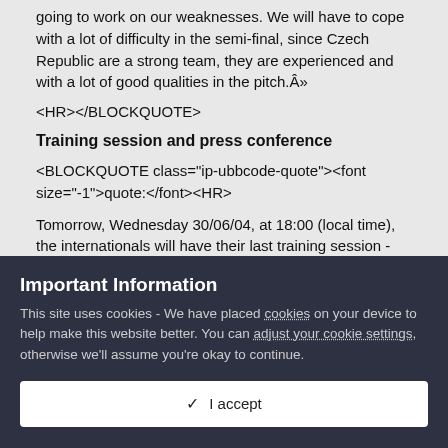going to work on our weaknesses. We will have to cope with a lot of difficulty in the semi-final, since Czech Republic are a strong team, they are experienced and with a lot of good qualities in the pitch.Â»
<HR></BLOCKQUOTE>
Training session and press conference
<BLOCKQUOTE class="ip-ubbcode-quote"><font size="-1">quote:</font><HR>
Tomorrow, Wednesday 30/06/04, at 18:00 (local time), the internationals will have their last training session -before EURO 2004 semi-finals match against Czech Republic- at Â«DragaoÂ» stadium. One hour before the session (17:00) Mr. Rehhagel will hold a press conference.
Important Information
This site uses cookies - We have placed cookies on your device to help make this website better. You can adjust your cookie settings, otherwise we'll assume you're okay to continue.
✓  I accept